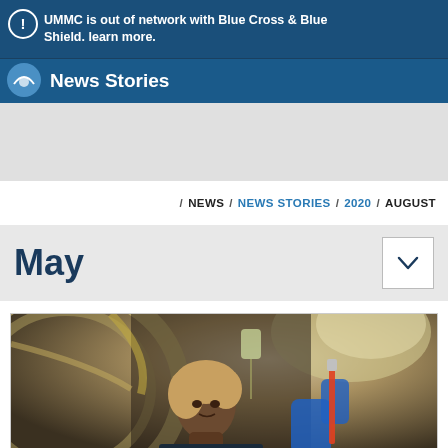UMMC is out of network with Blue Cross & Blue Shield. learn more.
News Stories
/ NEWS / NEWS STORIES / 2020 / AUGUST
May
[Figure (photo): Medical professional (woman wearing blue gloves) working with medical equipment in what appears to be an MRI or hyperbaric chamber environment.]